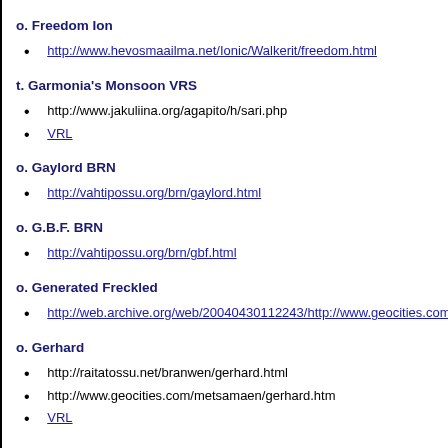o. Freedom Ion
http://www.hevosmaailma.net/Ionic/Walkerit/freedom.html
t. Garmonia's Monsoon VRS
http://www.jakuliina.org/agapito/h/sari.php
VRL
o. Gaylord BRN
http://vahtipossu.org/brn/gaylord.html
o. G.B.F. BRN
http://vahtipossu.org/brn/gbf.html
o. Generated Freckled
http://web.archive.org/web/20040430112243/http://www.geocities.com/
o. Gerhard
http://raitatossu.net/branwen/gerhard.html
http://www.geocities.com/metsamaen/gerhard.htm
VRL
t. Gillyflower Ion
http://www.hevosmaailma.net/Ionic/Walkerit/Kadonneet/gillyflower_ion.h